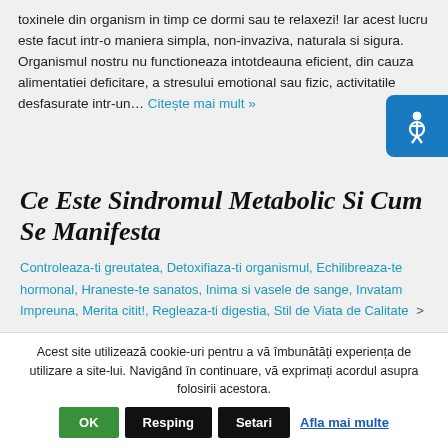toxinele din organism in timp ce dormi sau te relaxezi! Iar acest lucru este facut intr-o maniera simpla, non-invaziva, naturala si sigura. Organismul nostru nu functioneaza intotdeauna eficient, din cauza alimentatiei deficitare, a stresului emotional sau fizic, activitatii desfasurate intr-un… Citește mai mult »
[Figure (other): Accessibility icon button - blue rounded square with person/human figure icon]
Ce Este Sindromul Metabolic Si Cum Se Manifesta
Controleaza-ti greutatea, Detoxifiaza-ti organismul, Echilibreaza-te hormonal, Hraneste-te sanatos, Inima si vasele de sange, Invatam Impreuna, Merita citit!, Regleaza-ti digestia, Stil de Viata de Calitate >
Acest site utilizează cookie-uri pentru a vă îmbunătăți experiența de utilizare a site-lui. Navigând în continuare, vă exprimați acordul asupra folosirii acestora.
OK  Resping  Setari  Afla mai multe